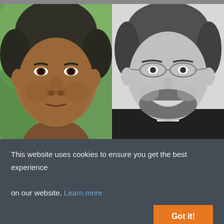[Figure (photo): Two side-by-side headshot photos. Left: a South Asian man with dark hair and neutral expression, set against a green blurred background (color photo). Right: a smiling man with glasses and a beard, in black and white.]
This website uses cookies to ensure you get the best experience on our website. Learn more